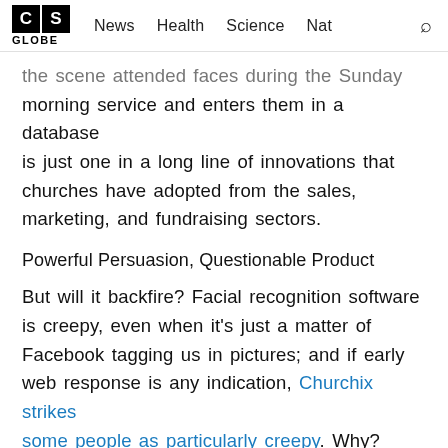CS GLOBE | News  Health  Science  Nat  🔍
...the scene attended faces during the Sunday morning service and enters them in a database is just one in a long line of innovations that churches have adopted from the sales, marketing, and fundraising sectors.
Powerful Persuasion, Questionable Product
But will it backfire? Facial recognition software is creepy, even when it's just a matter of Facebook tagging us in pictures; and if early web response is any indication, Churchix strikes some people as particularly creepy. Why? Because the whole goal of Churchix is to help power-seeking, member-seeking, revenue-